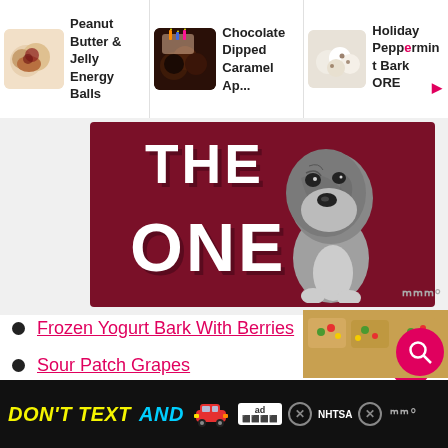[Figure (screenshot): Food recipe carousel showing three items: Peanut Butter & Jelly Energy Balls, Chocolate Dipped Caramel Ap..., Holiday Peppermint Bark ORE...]
Peanut Butter & Jelly Energy Balls
Chocolate Dipped Caramel Ap...
Holiday Peppermint Bark ORE...
[Figure (photo): Hero image with dark red/maroon background showing text 'THE ONE' in large white bold letters, with a brindle bulldog/boxer dog on the right side. A weatherman-style logo appears bottom right.]
Frozen Yogurt Bark With Berries
Sour Patch Grapes
Cookie Dough Truffles
Chocolate Orange Truffles
[Figure (screenshot): Bottom portion showing cookie/brownie thumbnail photo, pink pill-shaped decorations scattered, heart like button, 153K count, share button, search button]
DON'T TEXT AND [car emoji] ad NHTSA [X buttons]